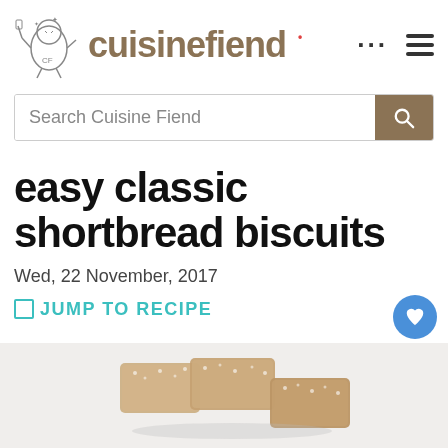cuisinefiend
Search Cuisine Fiend
easy classic shortbread biscuits
Wed, 22 November, 2017
JUMP TO RECIPE
[Figure (photo): Photo of shortbread biscuits dusted with sugar, stacked on a light background]